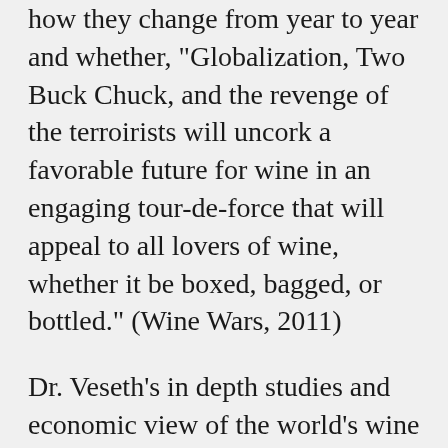how they change from year to year and whether, "Globalization, Two Buck Chuck, and the revenge of the terroirists will uncork a favorable future for wine in an engaging tour-de-force that will appeal to all lovers of wine, whether it be boxed, bagged, or bottled." (Wine Wars, 2011)
Dr. Veseth's in depth studies and economic view of the world's wine trade will take you on a metaphorical wine walk from the terroir that grows the clustered grapes, into the cellar filled with a variety of barrels and corks, the movements that have shaped the global wine industry, and straight into the delectable wine in your hand.